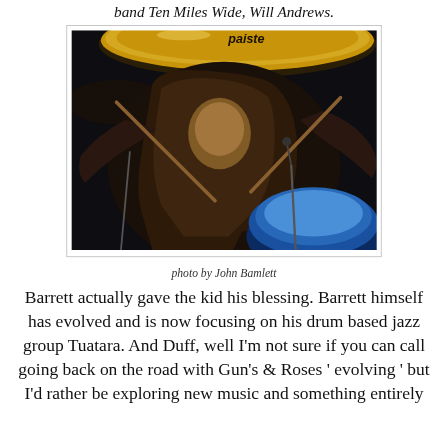band Ten Miles Wide, Will Andrews.
[Figure (photo): Drummer with long hair playing drums, Paiste cymbal visible overhead, blue drum in background, dark atmospheric lighting]
photo by John Bamlett
Barrett actually gave the kid his blessing. Barrett himself has evolved and is now focusing on his drum based jazz group Tuatara. And Duff, well I'm not sure if you can call going back on the road with Gun's & Roses ' evolving ' but I'd rather be exploring new music and something entirely